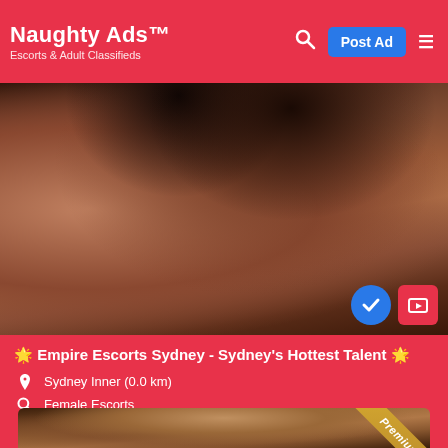Naughty Ads™ – Escorts & Adult Classifieds
[Figure (photo): Close-up photo of a woman with dark hair, cropped image showing upper body]
🌟 Empire Escorts Sydney - Sydney's Hottest Talent 🌟
Sydney Inner (0.0 km)
Female Escorts
From $500
[Figure (photo): Close-up photo of a woman with dark hair, Premium listing badge in corner]